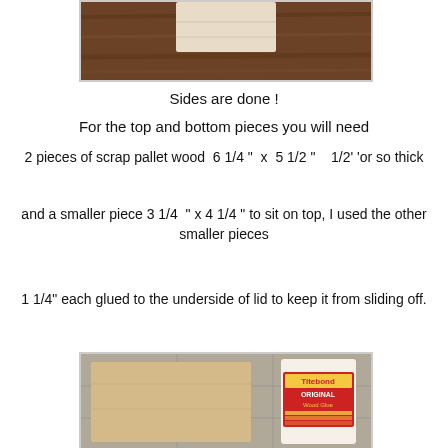[Figure (photo): Top portion of a wooden piece on a dark wood background]
Sides are done !
For the top and bottom pieces you will need
2 pieces of scrap pallet wood  6 1/4 "  x  5 1/2 "    1/2' 'or so thick
and a smaller piece 3 1/4  " x 4 1/4 " to sit on top, I used the other smaller pieces
1 1/4" each glued to the underside of lid to keep it from sliding off.
[Figure (photo): A piece of wood (pallet board) next to a Titebond Original Wood Glue bottle on a tiled surface]